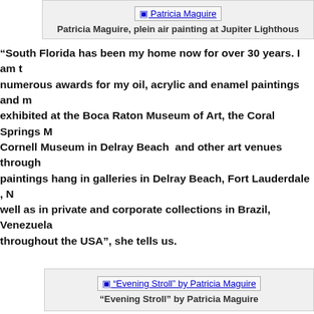[Figure (photo): Patricia Maguire image placeholder with link text]
Patricia Maguire, plein air painting at Jupiter Lighthouse
“South Florida has been my home now for over 30 years. I am t… numerous awards for my oil, acrylic and enamel paintings and m… exhibited at the Boca Raton Museum of Art, the Coral Springs M… Cornell Museum in Delray Beach  and other art venues through… paintings hang in galleries in Delray Beach, Fort Lauderdale , N… well as in private and corporate collections in Brazil, Venezuela… throughout the USA”, she tells us.
[Figure (photo): "Evening Stroll" by Patricia Maguire image placeholder]
“Evening Stroll” by Patricia Maguire
Patricia’s paintings reflect her passion to capture light and sha… the Delray Beach Center For The Arts and is a Signature Membe… of the Boca Raton Museum of Art, the Delray Art League, the W…